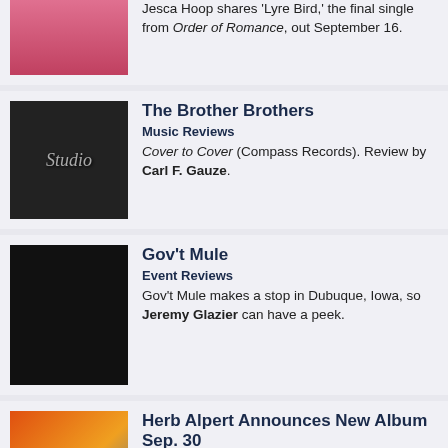Jesca Hoop shares 'Lyre Bird,' the final single from Order of Romance, out September 16.
The Brother Brothers
Music Reviews
Cover to Cover (Compass Records). Review by Carl F. Gauze.
Gov't Mule
Event Reviews
Gov't Mule makes a stop in Dubuque, Iowa, so Jeremy Glazier can have a peek.
Herb Alpert Announces New Album Sep. 30
Music News
Herb Alpert, prolific Tijuana Brass titan, returns with his latest studio effort Sunny Side of the Street, out on September 30.